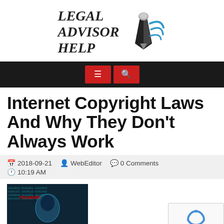[Figure (logo): Legal Advisor Help logo with pen nib and swoosh graphic, italic serif bold text reading LEGAL ADVISOR HELP]
[Figure (infographic): Black navigation bar with two red buttons: hamburger menu icon and search/magnifier icon]
Internet Copyright Laws And Why They Don't Always Work
2018-09-21   WebEditor   0 Comments   10:19 AM
[Figure (photo): Dark hacker/cybersecurity themed image with binary code and a hooded figure silhouette, featuring the word PASSWORD in red]
[Figure (other): reCAPTCHA widget showing recycling arrows logo and Privacy - Terms text]